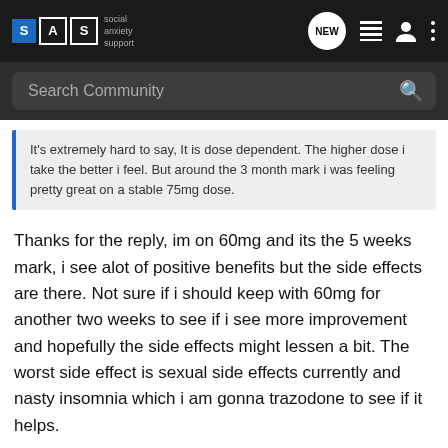SAS social anxiety support — Search Community
It's extremely hard to say, It is dose dependent. The higher dose i take the better i feel. But around the 3 month mark i was feeling pretty great on a stable 75mg dose.
Thanks for the reply, im on 60mg and its the 5 weeks mark, i see alot of positive benefits but the side effects are there. Not sure if i should keep with 60mg for another two weeks to see if i see more improvement and hopefully the side effects might lessen a bit. The worst side effect is sexual side effects currently and nasty insomnia which i am gonna trazodone to see if it helps.
nickdrake · Registered